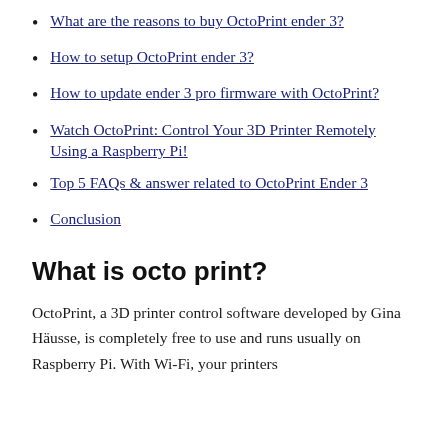What are the reasons to buy OctoPrint ender 3?
How to setup OctoPrint ender 3?
How to update ender 3 pro firmware with OctoPrint?
Watch OctoPrint: Control Your 3D Printer Remotely Using a Raspberry Pi!
Top 5 FAQs & answer related to OctoPrint Ender 3
Conclusion
What is octo print?
OctoPrint, a 3D printer control software developed by Gina Häusse, is completely free to use and runs usually on Raspberry Pi. With Wi-Fi, your printers